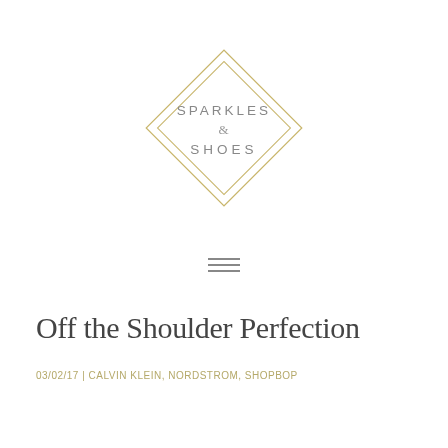[Figure (logo): Sparkles & Shoes logo: two concentric diamond (rotated square) outlines in gold/tan color with the text SPARKLES & SHOES in light gray spaced uppercase letters inside]
[Figure (other): Hamburger menu icon: three horizontal lines in gray]
Off the Shoulder Perfection
03/02/17 | CALVIN KLEIN, NORDSTROM, SHOPBOP